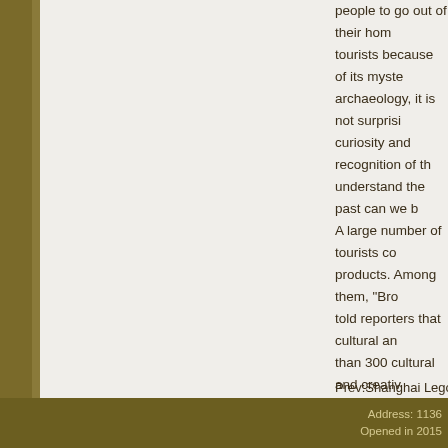people to go out of their hom tourists because of its myste archaeology, it is not surprisi curiosity and recognition of th understand the past can we b A large number of tourists co products. Among them, "Bro told reporters that cultural an than 300 cultural and creativo highlight the charm of ancien "Characteristics are the vitali Li Zhao told reporters that as development.
Prev:Shanghai Legoland them
→ Go Back
Address: 1136 Opened in 2015